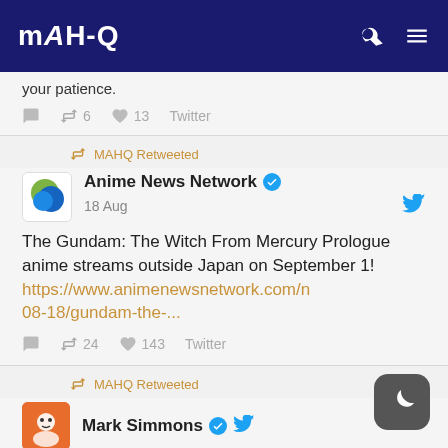MAHQ
your patience.
6 retweets  13 likes  Twitter
MAHQ Retweeted
Anime News Network
18 Aug
The Gundam: The Witch From Mercury Prologue anime streams outside Japan on September 1! https://www.animenewsnetwork.com/n 08-18/gundam-the-...
24 retweets  143 likes  Twitter
MAHQ Retweeted
Mark Simmons